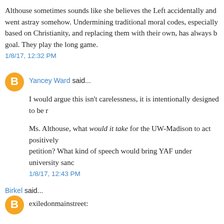Althouse sometimes sounds like she believes the Left accidentally and went astray somehow. Undermining traditional moral codes, especially based on Christianity, and replacing them with their own, has always b goal. They play the long game.
1/8/17, 12:32 PM
Yancey Ward said...
I would argue this isn't carelessness, it is intentionally designed to be r
Ms. Althouse, what would it take for the UW-Madison to act positively petition? What kind of speech would bring YAF under university sanc
1/8/17, 12:43 PM
Birkel said...
exiledonmainstreet:
The Left thought of Free Speech like Leftist collectivists think of dem When they reached their stop, they got off.